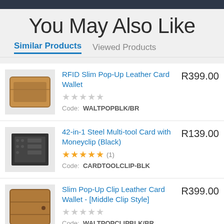You May Also Like
Similar Products | Viewed Products
RFID Slim Pop-Up Leather Card Wallet | R399.00 | Code: WALTPOPBLK/BR
42-in-1 Steel Multi-tool Card with Moneyclip (Black) | R139.00 | Rating: 5 stars (1) | Code: CARDTOOLCLIP-BLK
Slim Pop-Up Clip Leather Card Wallet - [Middle Clip Style] | R399.00 | Code: WALTPOPCLIPBLK/BR
Soft-Touch Leather Trifold | R399.00